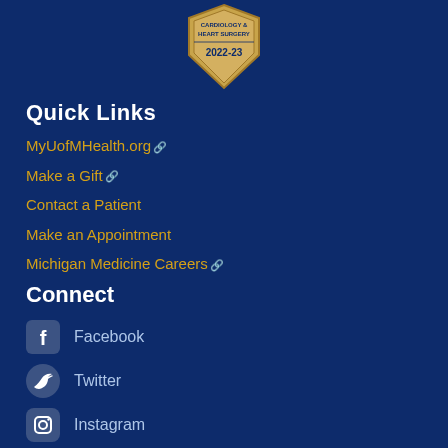[Figure (logo): Cardiology & Heart Surgery 2022-23 badge/shield award logo in gold tones]
Quick Links
MyUofMHealth.org [external link]
Make a Gift [external link]
Contact a Patient
Make an Appointment
Michigan Medicine Careers [external link]
Connect
Facebook
Twitter
Instagram
YouTube
Pinterest